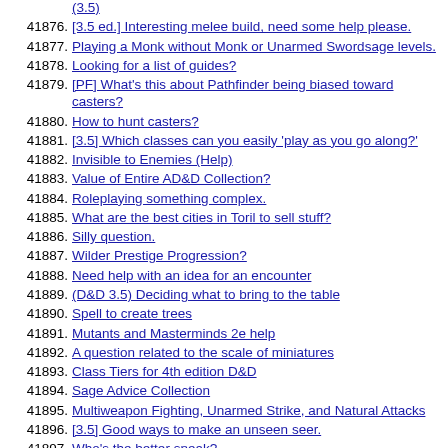41876. [3.5 ed.] Interesting melee build, need some help please.
41877. Playing a Monk without Monk or Unarmed Swordsage levels.
41878. Looking for a list of guides?
41879. [PF] What's this about Pathfinder being biased toward casters?
41880. How to hunt casters?
41881. [3.5] Which classes can you easily 'play as you go along?'
41882. Invisible to Enemies (Help)
41883. Value of Entire AD&D Collection?
41884. Roleplaying something complex.
41885. What are the best cities in Toril to sell stuff?
41886. Silly question.
41887. Wilder Prestige Progression?
41888. Need help with an idea for an encounter
41889. (D&D 3.5) Deciding what to bring to the table
41890. Spell to create trees
41891. Mutants and Masterminds 2e help
41892. A question related to the scale of miniatures
41893. Class Tiers for 4th edition D&D
41894. Sage Advice Collection
41895. Multiweapon Fighting, Unarmed Strike, and Natural Attacks
41896. [3.5] Good ways to make an unseen seer.
41897. Who's the better sneak?
41898. Tips on a combatless session?
41899. Toon: good bad or mediocre?